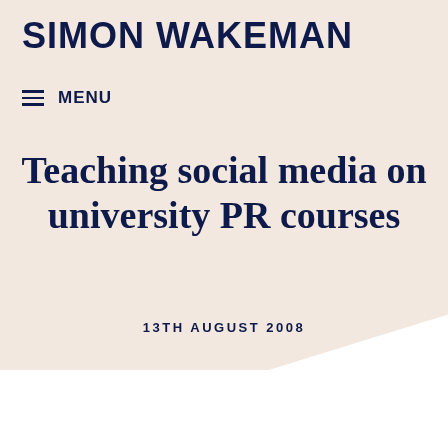SIMON WAKEMAN
≡ MENU
Teaching social media on university PR courses
13TH AUGUST 2008